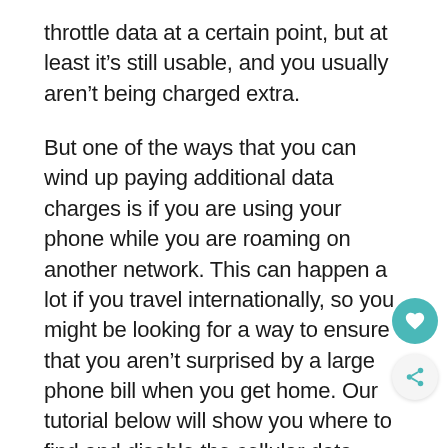throttle data at a certain point, but at least it's still usable, and you usually aren't being charged extra.
But one of the ways that you can wind up paying additional data charges is if you are using your phone while you are roaming on another network. This can happen a lot if you travel internationally, so you might be looking for a way to ensure that you aren't surprised by a large phone bill when you get home. Our tutorial below will show you where to find and disable the cellular data roaming setting on your iPhone SE.